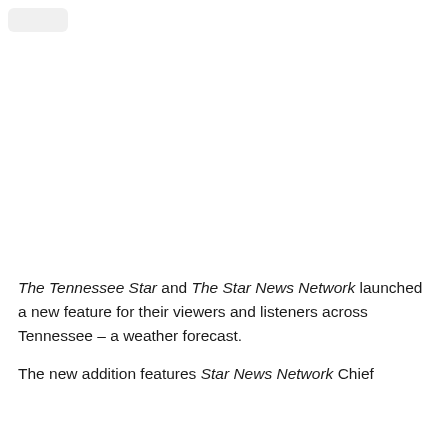The Tennessee Star and The Star News Network launched a new feature for their viewers and listeners across Tennessee – a weather forecast.
The new addition features Star News Network Chief Meteorologist [name] who additionally the header of...